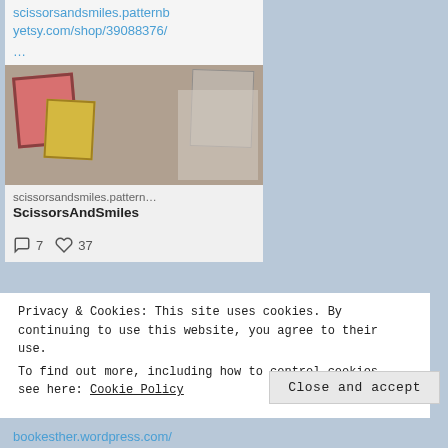scissorsandsmiles.patternbyetsy.com/shop/39088376/
...
[Figure (photo): Photo of craft items including small books, fabric pieces, and other craft materials arranged on a surface]
scissorsandsmiles.pattern...
ScissorsAndSmiles
7  37
Privacy & Cookies: This site uses cookies. By continuing to use this website, you agree to their use.
To find out more, including how to control cookies, see here: Cookie Policy
Close and accept
bookesther.wordpress.com/